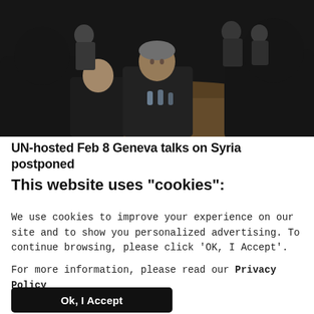[Figure (photo): Several men in dark suits seated around a conference table. A man with gray hair is visible in the center background. People are gathered in a formal meeting setting, with water bottles on the table and observers in the background.]
UN-hosted Feb 8 Geneva talks on Syria postponed
This website uses "cookies":
We use cookies to improve your experience on our site and to show you personalized advertising. To continue browsing, please click 'OK, I Accept'.
For more information, please read our Privacy Policy